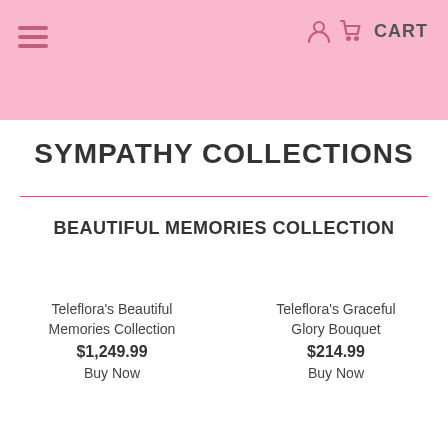CART
SYMPATHY COLLECTIONS
BEAUTIFUL MEMORIES COLLECTION
Teleflora's Beautiful Memories Collection
$1,249.99
Buy Now
Teleflora's Graceful Glory Bouquet
$214.99
Buy Now